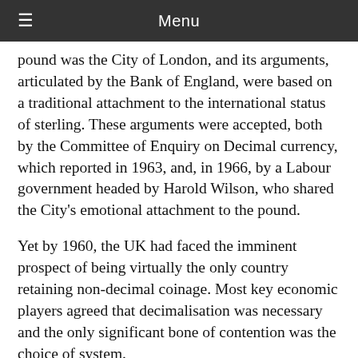Menu
pound was the City of London, and its arguments, articulated by the Bank of England, were based on a traditional attachment to the international status of sterling. These arguments were accepted, both by the Committee of Enquiry on Decimal currency, which reported in 1963, and, in 1966, by a Labour government headed by Harold Wilson, who shared the City's emotional attachment to the pound.
Yet by 1960, the UK had faced the imminent prospect of being virtually the only country retaining non-decimal coinage. Most key economic players agreed that decimalisation was necessary and the only significant bone of contention was the choice of system.
Most informed opinion favoured a new major unit